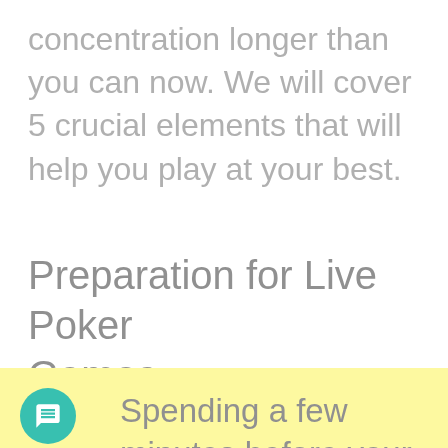concentration longer than you can now. We will cover 5 crucial elements that will help you play at your best.
Preparation for Live Poker Games
Spending a few minutes before your session to